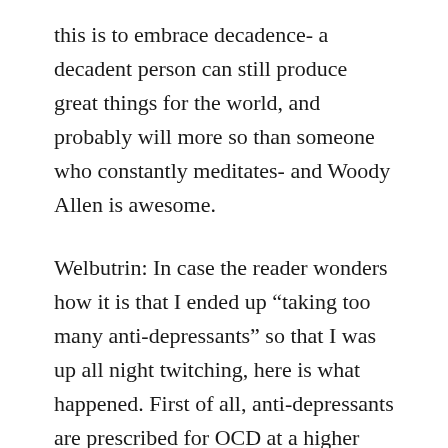this is to embrace decadence- a decadent person can still produce great things for the world, and probably will more so than someone who constantly meditates- and Woody Allen is awesome.
Welbutrin: In case the reader wonders how it is that I ended up “taking too many anti-depressants” so that I was up all night twitching, here is what happened. First of all, anti-depressants are prescribed for OCD at a higher dose than for depression, so there is already a greater potential for side effects. One night in Paris I took my medications, and